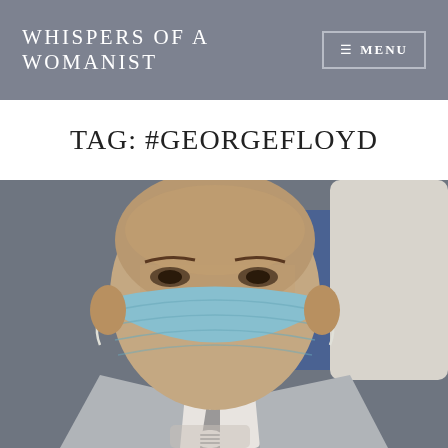Whispers of a Womanist
Tag: #georgefloyd
[Figure (photo): A man wearing a light blue surgical face mask and a light gray suit jacket with a gray tie, appearing to be in a courtroom or formal indoor setting. A person in white clothing is partially visible in the background, along with blue chairs.]